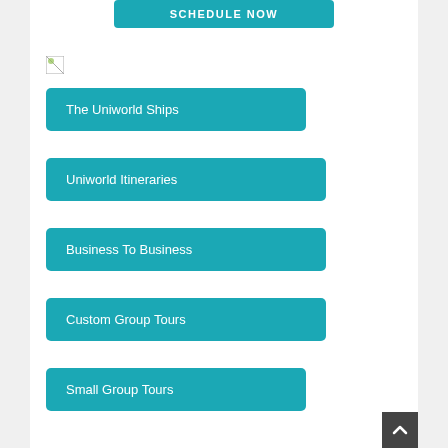SCHEDULE NOW
[Figure (other): Small broken image placeholder icon]
The Uniworld Ships
Uniworld Itineraries
Business To Business
Custom Group Tours
Small Group Tours